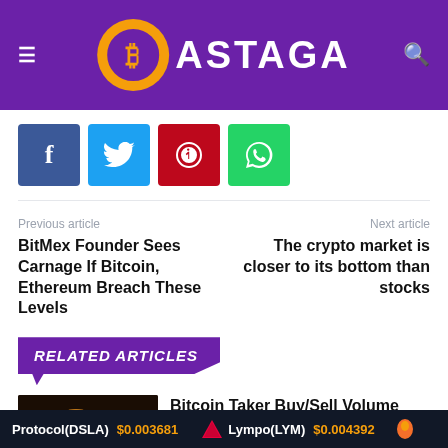BASTAGA
[Figure (logo): Bastaga logo with Bitcoin symbol in orange circle on purple background]
f  Twitter  Pinterest  WhatsApp
Previous article
BitMex Founder Sees Carnage If Bitcoin, Ethereum Breach These Levels
Next article
The crypto market is closer to its bottom than stocks
RELATED ARTICLES
Bitcoin Taker Buy/Sell Volume Spikes Up As Price Experiences Volatility
Protocol(DSLA) $0.003681   Lympo(LYM) $0.004392